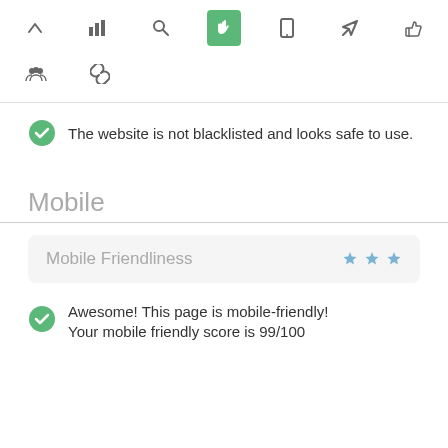[Figure (screenshot): Navigation toolbar row 1 with icons: up arrow, bar chart, search, hand/touch (active, green background), mobile device, send/rocket, thumbs up]
[Figure (screenshot): Navigation toolbar row 2 with icons: people/community, chain links]
The website is not blacklisted and looks safe to use.
Mobile
Mobile Friendliness
Awesome! This page is mobile-friendly!
Your mobile friendly score is 99/100